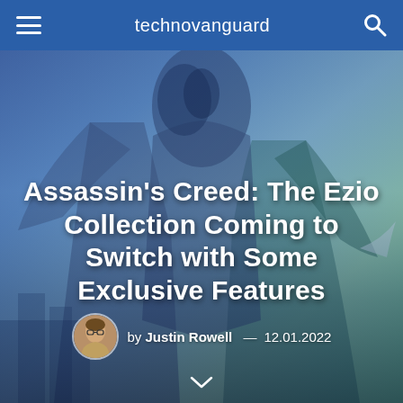technovanguard
[Figure (photo): Hero image featuring Assassin's Creed Ezio character with blue-green gradient tinted background overlaid with the article title]
Assassin's Creed: The Ezio Collection Coming to Switch with Some Exclusive Features
by Justin Rowell — 12.01.2022